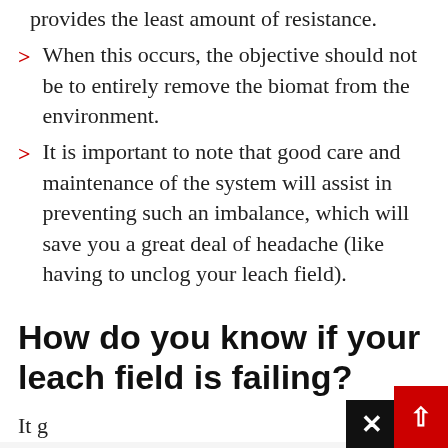provides the least amount of resistance.
When this occurs, the objective should not be to entirely remove the biomat from the environment.
It is important to note that good care and maintenance of the system will assist in preventing such an imbalance, which will save you a great deal of headache (like having to unclog your leach field).
How do you know if your leach field is failing?
It g